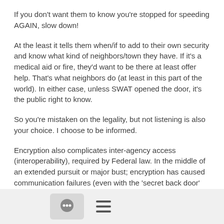If you don't want them to know you're stopped for speeding AGAIN, slow down!
At the least it tells them when/if to add to their own security and know what kind of neighbors/town they have.  If it's a medical aid or fire, they'd want to be there at least offer help.  That's what neighbors do (at least in this part of the world).  In either case, unless SWAT opened the door, it's the public right to know.
So you're mistaken on the legality, but not listening is also your choice.  I choose to be informed.
Encryption also complicates inter-agency access (interoperability), required by Federal law.  In the middle of an extended pursuit or major bust; encryption has caused communication failures (even with the 'secret back door' into P25 networks).  I live between two states, each thirty miles away in opposite directions, it's not unheard of to involve all three states in a major chase BUT each agency has been successful because none of them encrypt.  A couple local LE do and have to go to
[Figure (screenshot): Bottom navigation bar with chat bubble icon button and hamburger menu icon]